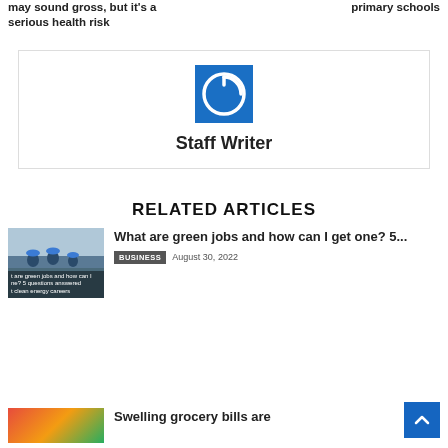may sound gross, but it's a serious health risk
primary schools
[Figure (logo): Blue square with white power/on button icon - Staff Writer avatar]
Staff Writer
RELATED ARTICLES
[Figure (photo): Workers in blue hard hats on a construction/green energy site with text overlay about green jobs]
What are green jobs and how can I get one? 5...
BUSINESS  August 30, 2022
[Figure (photo): Grocery store shelves with colorful products]
Swelling grocery bills are